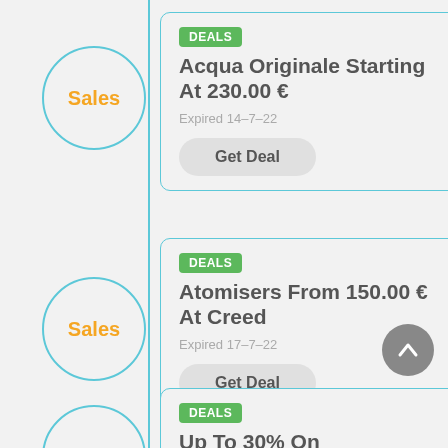[Figure (infographic): Vertical timeline line with circle badges labeled Sales]
DEALS
Acqua Originale Starting At 230.00 €
Expired 14-7-22
Get Deal
DEALS
Atomisers From 150.00 € At Creed
Expired 17-7-22
Get Deal
DEALS
Up To 30% On